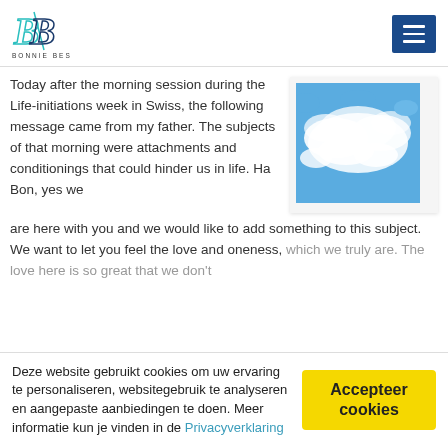[Figure (logo): Bonnie Bessem logo with stylized B letters in teal and dark blue, with text BONNIE BESSEM below]
Today after the morning session during the Life-initiations week in Swiss, the following message came from my father. The subjects of that morning were attachments and conditionings that could hinder us in life. Ha Bon, yes we are here with you and we would like to add something to this subject. We want to let you feel the love and oneness, which we truly are. The love here is so great that we don't
[Figure (photo): Photo of blue sky with white clouds]
Deze website gebruikt cookies om uw ervaring te personaliseren, websitegebruik te analyseren en aangepaste aanbiedingen te doen. Meer informatie kun je vinden in de Privacyverklaring